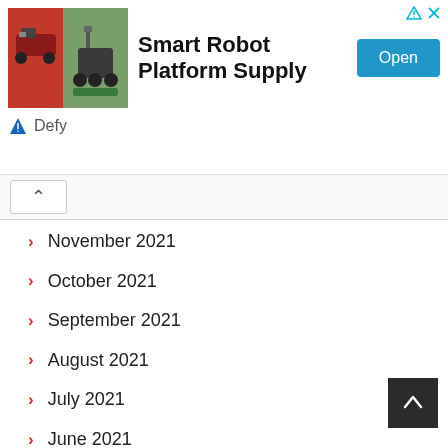[Figure (screenshot): Advertisement banner for Smart Robot Platform Supply by Defy, with two robot/vehicle images on the left, bold title text in center, and a blue Open button on the right.]
November 2021
October 2021
September 2021
August 2021
July 2021
June 2021
May 2021
April 2021
March 2021
February 2021